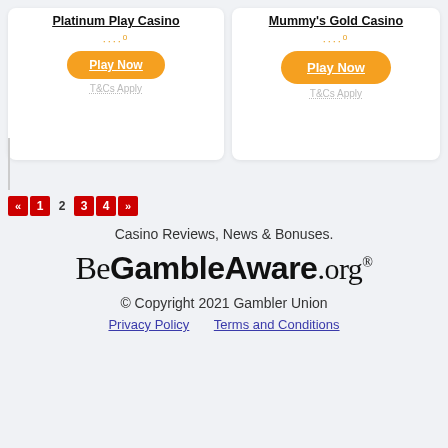Platinum Play Casino
Play Now
T&Cs Apply
Mummy's Gold Casino
Play Now
T&Cs Apply
« 1 2 3 4 »
Casino Reviews, News & Bonuses.
[Figure (logo): BeGambleAware.org logo]
© Copyright 2021 Gambler Union
Privacy Policy    Terms and Conditions